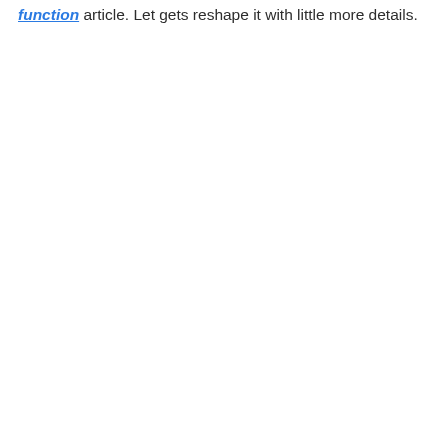function article. Let gets reshape it with little more details.